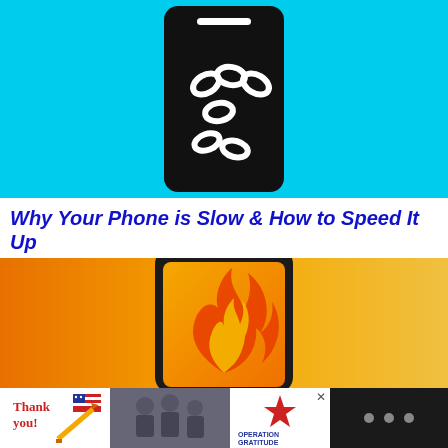[Figure (illustration): Cyan/light blue background with a large black smartphone icon showing white oval fingerprint-like shapes on its screen]
Why Your Phone is Slow & How to Speed It Up
[Figure (illustration): Orange gradient background with a dark-framed smartphone displaying an orange/yellow background with a flame icon — overheating phone illustration]
[Figure (illustration): Advertisement banner: 'Thank you!' handwritten text with pencil icon, photo of military personnel, Operation Gratitude logo with star, close button X, and dark section with triple dots icon]